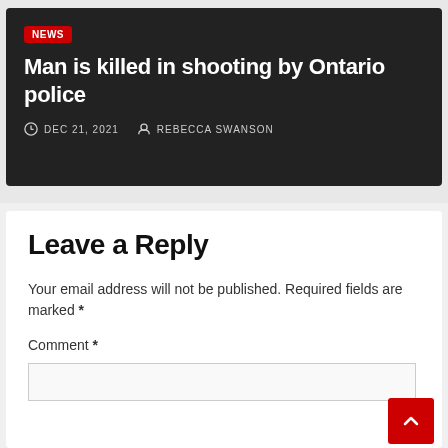[Figure (screenshot): News article card with dark background showing article headline, date and author]
Man is killed in shooting by Ontario police
DEC 21, 2021  REBECCA SWANSON
Leave a Reply
Your email address will not be published. Required fields are marked *
Comment *